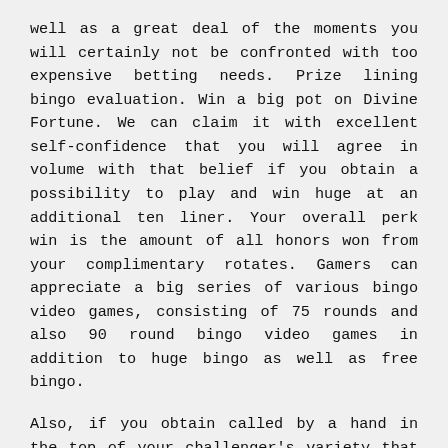well as a great deal of the moments you will certainly not be confronted with too expensive betting needs. Prize lining bingo evaluation. Win a big pot on Divine Fortune. We can claim it with excellent self-confidence that you will agree in volume with that belief if you obtain a possibility to play and win huge at an additional ten liner. Your overall perk win is the amount of all honors won from your complimentary rotates. Gamers can appreciate a big series of various bingo video games, consisting of 75 rounds and also 90 round bingo video games in addition to huge bingo as well as free bingo.
Also, if you obtain called by a hand in the top of your challenger's variety that has you defeat, you are worth wagering. Some obtain right into web betting delicately and also finish to the social gaming group. The South Dakota online casino is seeing to it that all staff member